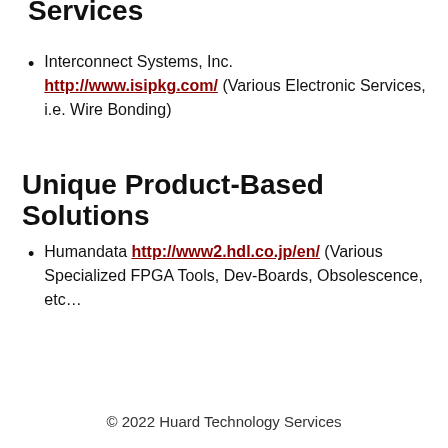Services
Interconnect Systems, Inc. http://www.isipkg.com/ (Various Electronic Services, i.e. Wire Bonding)
Unique Product-Based Solutions
Humandata http://www2.hdl.co.jp/en/ (Various Specialized FPGA Tools, Dev-Boards, Obsolescence, etc…
© 2022 Huard Technology Services